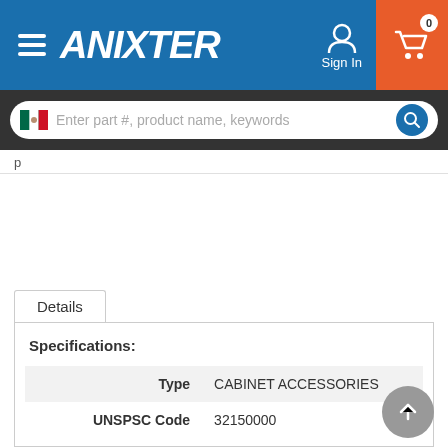ANIXTER
[Figure (screenshot): Search bar with Mexico flag icon and placeholder text: Enter part #, product name, keywords]
Details
| Label | Value |
| --- | --- |
| Type | CABINET ACCESSORIES |
| UNSPSC Code | 32150000 |